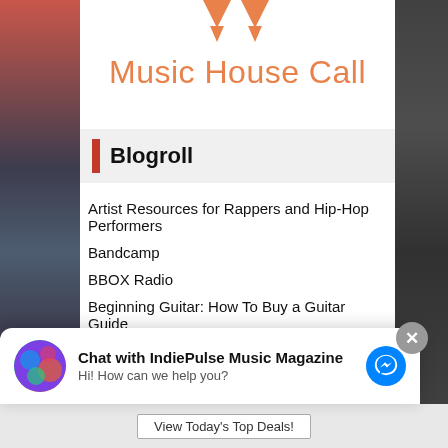[Figure (logo): Music House Call logo with orange double-arrow icon above orange text]
Blogroll
Artist Resources for Rappers and Hip-Hop Performers
Bandcamp
BBOX Radio
Beginning Guitar: How To Buy a Guitar Guide
Discogs
FamilyHype
Chat with IndiePulse Music Magazine
Hi! How can we help you?
View Today's Top Deals!